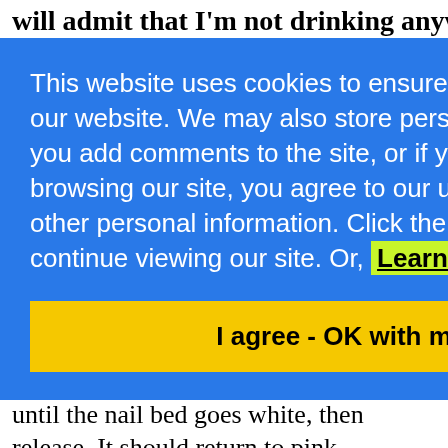will admit that I'm not drinking anywhere my
This website uses cookies to ensure you get the best experience on our website. We may also store personal information (name, email) if you add comments to the site, or if you use our Contact form. By browsing our site, you agree to our use of cookies and storage of other personal information. Click the 'I agree' button to agree and continue viewing our site. Or, Learn more
I agree - OK with me! (Click here)
the nail bed, ie. pinch down on a finger nail until the nail bed goes white, then release. It should return to pink immediately. There is a similar test for gums, but I don't use that one, so I don't have any experience.